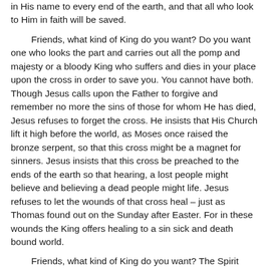in His name to every end of the earth, and that all who look to Him in faith will be saved.
Friends, what kind of King do you want?  Do you want one who looks the part and carries out all the pomp and majesty or a bloody King who suffers and dies in your place upon the cross in order to save you.  You cannot have both.  Though Jesus calls upon the Father to forgive and remember no more the sins of those for whom He has died, Jesus refuses to forget the cross.  He insists that His Church lift it high before the world, as Moses once raised the bronze serpent, so that this cross might be a magnet for sinners.  Jesus insists that this cross be preached to the ends of the earth so that hearing, a lost people might believe and believing a dead people might life.  Jesus refuses to let the wounds of that cross heal – just as Thomas found out on the Sunday after Easter.  For in these wounds the King offers healing to a sin sick and death bound world.
Friends, what kind of King do you want?  The Spirit works in you to lead you past the desire for a king who looks the part to the King who does all things to save us.  The Spirit is